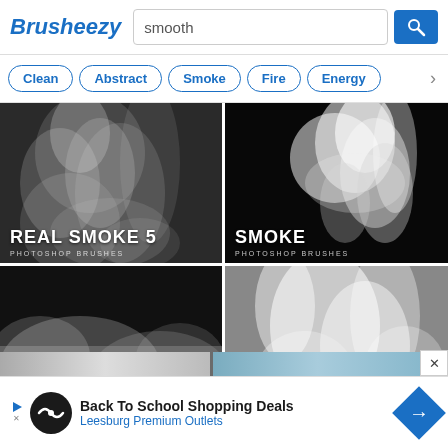Brusheezy
smooth
Clean
Abstract
Smoke
Fire
Energy
[Figure (photo): Real Smoke 5 Photoshop Brushes thumbnail - smoke on dark background]
[Figure (photo): Smoke Photoshop Brushes thumbnail - white smoke cloud on black background]
[Figure (photo): Fog 4 Photoshop Brushes thumbnail - fog on dark background]
[Figure (photo): Real Smoke 10 Photoshop Brushes thumbnail - smoke on dark background]
Back To School Shopping Deals
Leesburg Premium Outlets